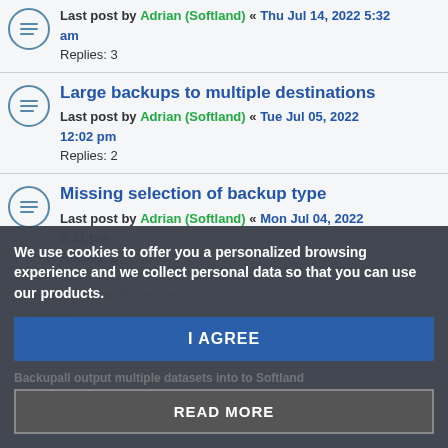Last post by Adrian (Softland) « Thu Jul 14, 2022 5:32 am
Replies: 3
Large backups to multiple destinations
Last post by Adrian (Softland) « Tue Jul 05, 2022 12:02 pm
Replies: 2
Missing selection of backup type
Last post by Adrian (Softland) « Mon Jul 04, 2022 9:31 pm
Replies: 2
We use cookies to offer you a personalized browsing experience and we collect personal data so that you can use our products.
I AGREE
Backupall output multiple datasets into to Softland
READ MORE